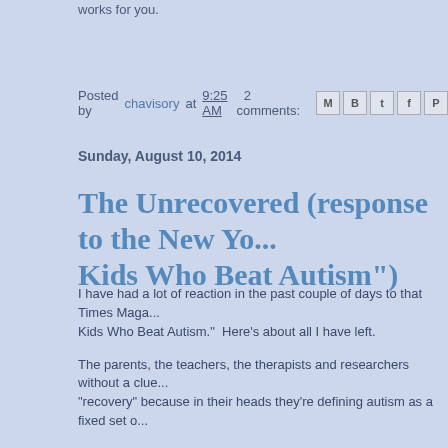works for you.
Posted by chavisory at 9:25 AM   2 comments:
Sunday, August 10, 2014
The Unrecovered (response to the New York Kids Who Beat Autism")
I have had a lot of reaction in the past couple of days to that Times Maga... Kids Who Beat Autism."  Here's about all I have left.
The parents, the teachers, the therapists and researchers without a clue... "recovery" because in their heads they're defining autism as a fixed set o...
-Are not the people doing the work of passing, and are not going to be th... just how long it isn't actually sustainable.
-Are not the people who get told we're too articulate to be autistic but ha...